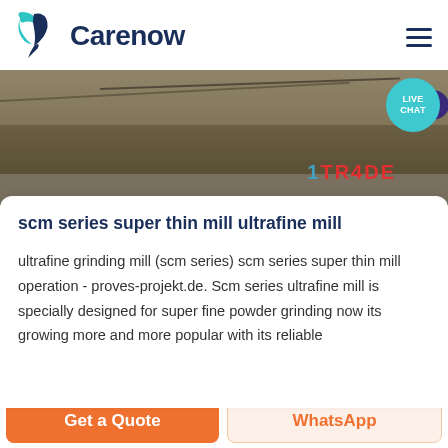Carenow
[Figure (photo): Outdoor construction/mining site scene with earth, machinery, and a partially visible sign reading 'TRADE' in red and blue lettering. A live chat bubble with teal circle labeled 'LIVE CHAT' and a dark purple chat icon appear in the top-right corner.]
scm series super thin mill ultrafine mill
ultrafine grinding mill (scm series) scm series super thin mill operation - proves-projekt.de. Scm series ultrafine mill is specially designed for super fine powder grinding now its growing more and more popular with its reliable